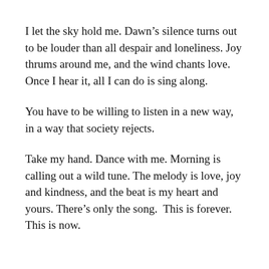I let the sky hold me. Dawn’s silence turns out to be louder than all despair and loneliness. Joy thrums around me, and the wind chants love. Once I hear it, all I can do is sing along.
You have to be willing to listen in a new way, in a way that society rejects.
Take my hand. Dance with me. Morning is calling out a wild tune. The melody is love, joy and kindness, and the beat is my heart and yours. There’s only the song.  This is forever. This is now.